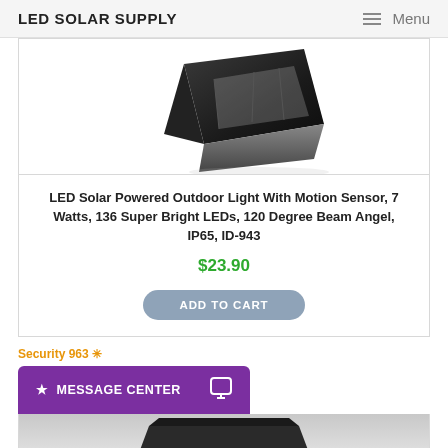LED SOLAR SUPPLY  Menu
[Figure (photo): LED solar powered outdoor light product photo, dark angular floodlight shape on white background]
LED Solar Powered Outdoor Light With Motion Sensor, 7 Watts, 136 Super Bright LEDs, 120 Degree Beam Angel, IP65, ID-943
$23.90
ADD TO CART
Security 963 ✳
★ MESSAGE CENTER